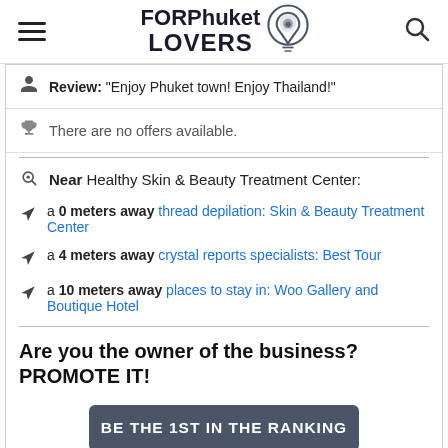FORPhuket LOVERS
Review: "Enjoy Phuket town! Enjoy Thailand!"
There are no offers available.
Near Healthy Skin & Beauty Treatment Center:
a 0 meters away thread depilation: Skin & Beauty Treatment Center
a 4 meters away crystal reports specialists: Best Tour
a 10 meters away places to stay in: Woo Gallery and Boutique Hotel
Are you the owner of the business? PROMOTE IT!
BE THE 1ST IN THE RANKING